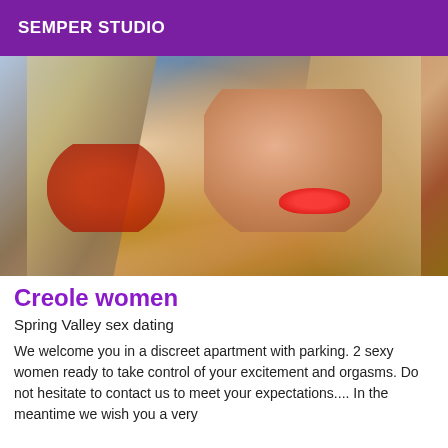SEMPER STUDIO
[Figure (photo): Close-up photo of two women with blonde hair in an intimate pose, one wearing a red top]
Creole women
Spring Valley sex dating
We welcome you in a discreet apartment with parking. 2 sexy women ready to take control of your excitement and orgasms. Do not hesitate to contact us to meet your expectations.... In the meantime we wish you a very